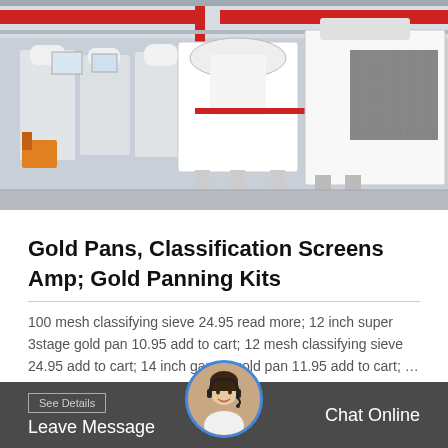[Figure (photo): Industrial factory floor showing a row of large white and black heavy mining/crushing machines (cone crushers/VSI machines) lined up in a manufacturing facility with red overhead crane beams visible.]
Gold Pans, Classification Screens Amp; Gold Panning Kits
100 mesh classifying sieve 24.95 read more; 12 inch super 3stage gold pan 10.95 add to cart; 12 mesh classifying sieve 24.95 add to cart; 14 inch garrett gold pan 11.95 add to cart; ...
[Figure (photo): Customer service avatar: a woman wearing a headset, circular profile photo with blue ring border, used as chat support icon.]